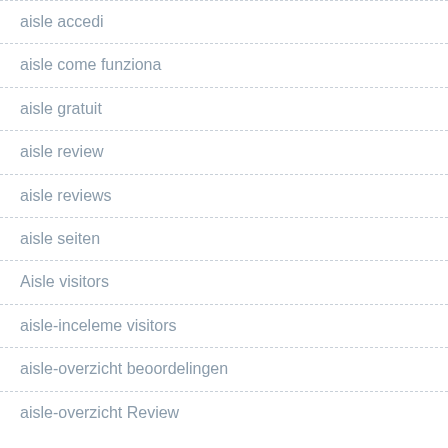aisle accedi
aisle come funziona
aisle gratuit
aisle review
aisle reviews
aisle seiten
Aisle visitors
aisle-inceleme visitors
aisle-overzicht beoordelingen
aisle-overzicht Review